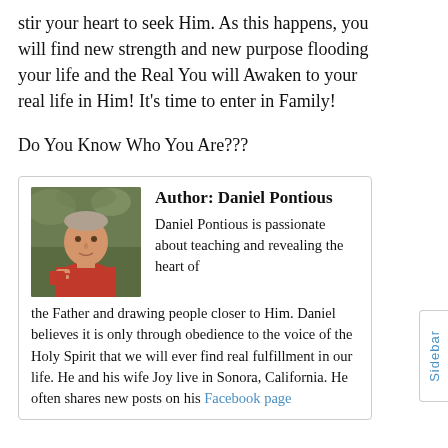stir your heart to seek Him. As this happens, you will find new strength and new purpose flooding your life and the Real You will Awaken to your real life in Him! It's time to enter in Family!
Do You Know Who You Are???
[Figure (photo): Photo of Daniel Pontious, a middle-aged man in a red polo shirt holding a red mug, outdoors with greenery in background]
Author: Daniel Pontious
Daniel Pontious is passionate about teaching and revealing the heart of the Father and drawing people closer to Him. Daniel believes it is only through obedience to the voice of the Holy Spirit that we will ever find real fulfillment in our life. He and his wife Joy live in Sonora, California. He often shares new posts on his Facebook page